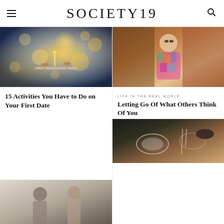SOCIETY19
[Figure (photo): Couple clinking wine glasses at a candlelit dinner with bokeh golden lights in background]
15 Activities You Have to Do on Your First Date
[Figure (photo): Young woman in floral dress sitting in front of vintage poster/painting in a shop]
LIFE IN THE REAL WORLD
Letting Go Of What Others Think Of You
[Figure (photo): Couple looking down together, casual indoor setting]
[Figure (photo): Close-up of hands at a formal dining table with wine glass and silverware]